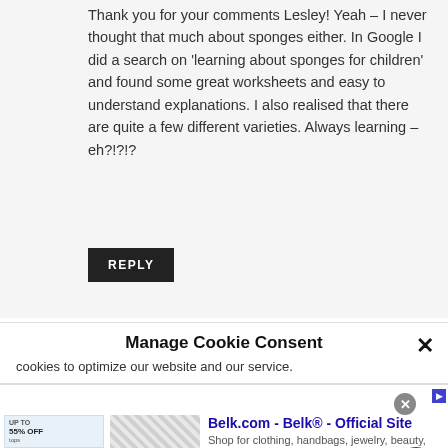Thank you for your comments Lesley! Yeah – I never thought that much about sponges either. In Google I did a search on 'learning about sponges for children' and found some great worksheets and easy to understand explanations. I also realised that there are quite a few different varieties. Always learning – eh?!?!?
REPLY
Manage Cookie Consent
cookies to optimize our website and our service.
[Figure (screenshot): Infolinks advertisement banner showing Belk.com - Belk Official Site ad with product image and navigation button]